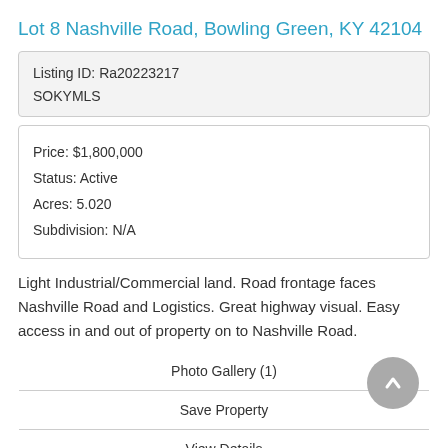Lot 8 Nashville Road, Bowling Green, KY 42104
| Listing ID: Ra20223217 |
| SOKYMLS |
| Price: $1,800,000 |
| Status: Active |
| Acres: 5.020 |
| Subdivision: N/A |
Light Industrial/Commercial land. Road frontage faces Nashville Road and Logistics. Great highway visual. Easy access in and out of property on to Nashville Road.
| Photo Gallery (1) |
| Save Property |
| View Details |